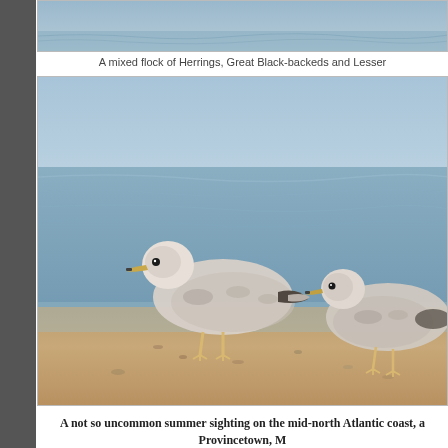[Figure (photo): Top portion of a photo showing a mixed flock of gulls near water, partially cropped at top of page]
A mixed flock of Herrings, Great Black-backeds and Lesser
[Figure (photo): Two juvenile seagulls standing on a sandy beach at the water's edge. The birds are mottled gray-brown and white. Ocean waves visible in background.]
A not so uncommon summer sighting on the mid-north Atlantic coast, a ... Provincetown, M...